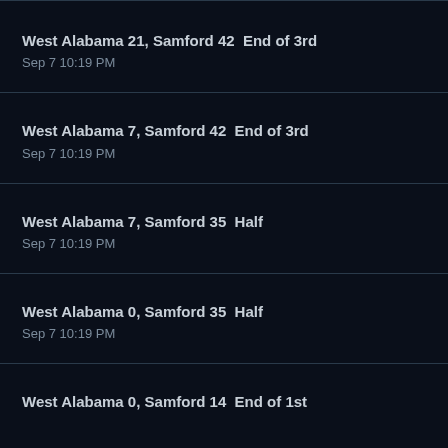West Alabama 21, Samford 42  End of 3rd
Sep 7 10:19 PM
West Alabama 7, Samford 42  End of 3rd
Sep 7 10:19 PM
West Alabama 7, Samford 35  Half
Sep 7 10:19 PM
West Alabama 0, Samford 35  Half
Sep 7 10:19 PM
West Alabama 0, Samford 14  End of 1st
Sep 7 10:19 PM